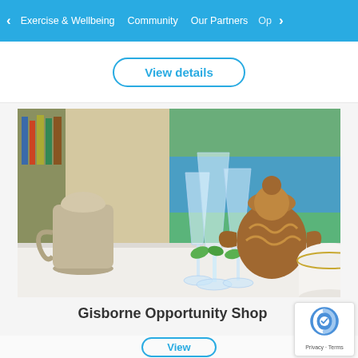< Exercise & Wellbeing   Community   Our Partners   Op >
View details
[Figure (photo): A display of second-hand items on a white shelf including a stoneware jug, crystal wine glasses, a decorative brown ceramic teapot with lid, a white cup with gold rim, and a landscape painting in the background showing a lake scene.]
Gisborne Opportunity Shop
View details